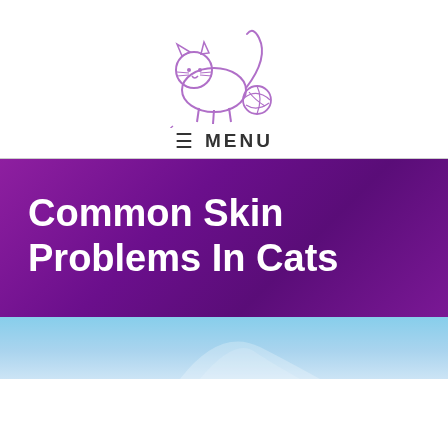[Figure (logo): Catnips logo with illustrated cartoon cat playing with yarn ball, text reads 'Catnips']
≡ MENU
Common Skin Problems In Cats
[Figure (photo): Partial photo of a cat, light blue/grey background, only top portion visible]